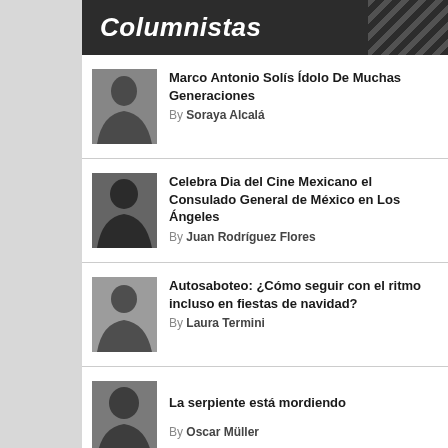Columnistas
Marco Antonio Solís Ídolo De Muchas Generaciones
By Soraya Alcalá
Celebra Dia del Cine Mexicano el Consulado General de México en Los Ángeles
By Juan Rodríguez Flores
Autosaboteo: ¿Cómo seguir con el ritmo incluso en fiestas de navidad?
By Laura Termini
La serpiente está mordiendo
By Oscar Müller
Creel
!El señor Pinar!